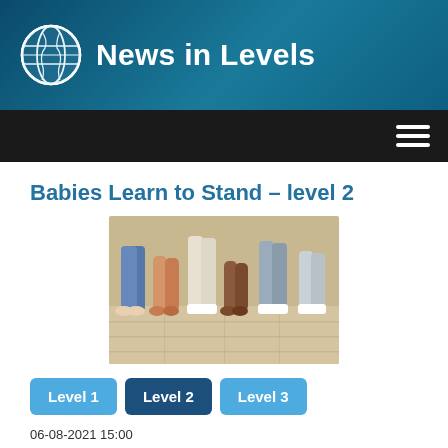News in Levels
Babies Learn to Stand – level 2
[Figure (photo): Photo showing the lower legs and feet of several young babies and toddlers standing on a wooden floor]
Level 1
Level 2
Level 3
06-08-2021 15:00
Since 1990, an Icelandic doctor has been teaching babies that are very young how to stand and balance.
To demonstrate, he stood in a pool and held up one baby on his